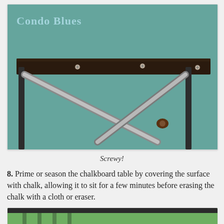[Figure (photo): Underside of a shelf bracket showing metal L-brackets and screws against a teal/mint green wall. A dark wooden board is mounted at the top with visible silver screws. Two metal diagonal support brackets cross beneath it. Text 'Condo Blues' appears in light blue lettering in the upper left corner of the photo.]
Screwy!
8. Prime or season the chalkboard table by covering the surface with chalk, allowing it to sit for a few minutes before erasing the chalk with a cloth or eraser.
[Figure (photo): Partial view of a chalkboard table top with dark metal legs visible, outdoors with green foliage in background.]